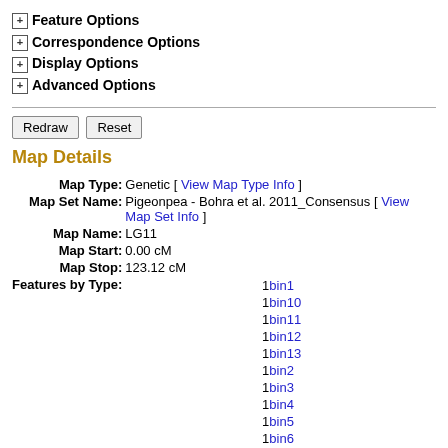⊞ Feature Options
⊞ Correspondence Options
⊞ Display Options
⊞ Advanced Options
Redraw   Reset
Map Details
| Field | Value |
| --- | --- |
| Map Type: | Genetic [ View Map Type Info ] |
| Map Set Name: | Pigeonpea - Bohra et al. 2011_Consensus [ View Map Set Info ] |
| Map Name: | LG11 |
| Map Start: | 0.00 cM |
| Map Stop: | 123.12 cM |
| Features by Type: | 1 bin1
1 bin10
1 bin11
1 bin12
1 bin13
1 bin2
1 bin3
1 bin4
1 bin5
1 bin6
1 bin7 |